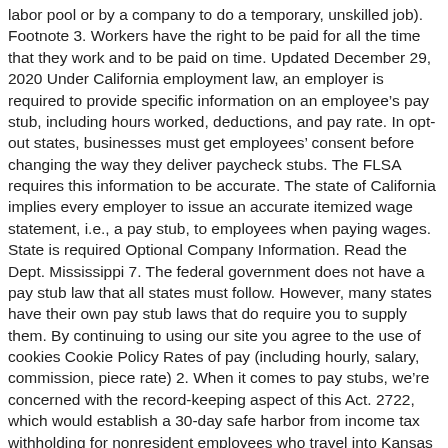labor pool or by a company to do a temporary, unskilled job). Footnote 3. Workers have the right to be paid for all the time that they work and to be paid on time. Updated December 29, 2020 Under California employment law, an employer is required to provide specific information on an employee's pay stub, including hours worked, deductions, and pay rate. In opt-out states, businesses must get employees' consent before changing the way they deliver paycheck stubs. The FLSA requires this information to be accurate. The state of California implies every employer to issue an accurate itemized wage statement, i.e., a pay stub, to employees when paying wages. State is required Optional Company Information. Read the Dept. Mississippi 7. The federal government does not have a pay stub law that all states must follow. However, many states have their own pay stub laws that do require you to supply them. By continuing to using our site you agree to the use of cookies Cookie Policy Rates of pay (including hourly, salary, commission, piece rate) 2. When it comes to pay stubs, we're concerned with the record-keeping aspect of this Act. 2722, which would establish a 30-day safe harbor from income tax withholding for nonresident employees who travel into Kansas to perform work. If you are paid by direct deposit, you still must get a pay stub. Register for a tax seminar near you at payroll tax seminar Effective October 1, 2020, employers must include...